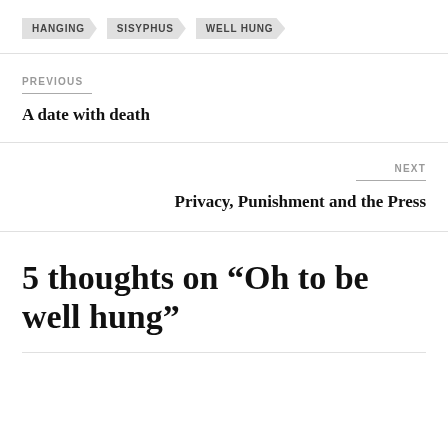HANGING
SISYPHUS
WELL HUNG
PREVIOUS
A date with death
NEXT
Privacy, Punishment and the Press
5 thoughts on “Oh to be well hung”